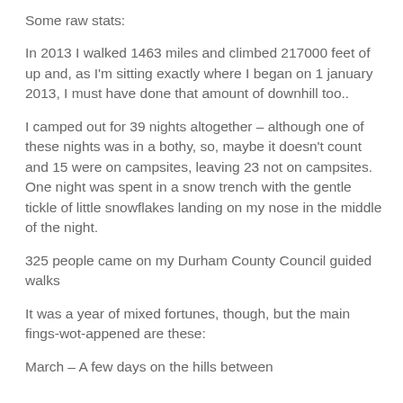Some raw stats:
In 2013 I walked 1463 miles and climbed 217000 feet of up and, as I'm sitting exactly where I began on 1 january 2013, I must have done that amount of downhill too..
I camped out for 39 nights altogether – although one of these nights was in a bothy, so, maybe it doesn't count and 15 were on campsites, leaving 23 not on campsites. One night was spent in a snow trench with the gentle tickle of little snowflakes landing on my nose in the middle of the night.
325 people came on my Durham County Council guided walks
It was a year of mixed fortunes, though, but the main fings-wot-appened are these:
March – A few days on the hills between